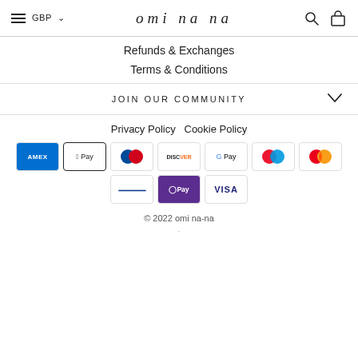omi na na — GBP navigation header with hamburger menu, search, and cart icons
Refunds & Exchanges
Terms & Conditions
JOIN OUR COMMUNITY
Privacy Policy Cookie Policy
[Figure (other): Payment method icons: American Express, Apple Pay, Diners Club, Discover, Google Pay, Maestro, Mastercard, PayPal, OPay, Visa]
© 2022 omi na-na